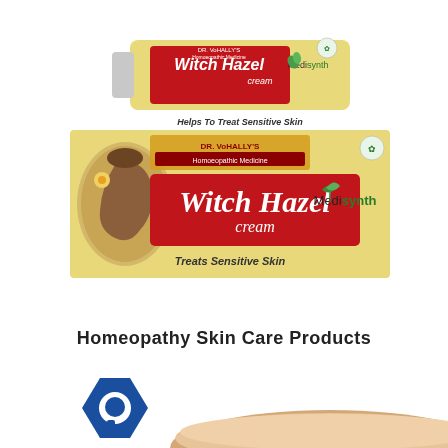[Figure (photo): Product photo showing Medisynth Dr. VoHALLY's Witch Hazel Cream tube (yellow with red label) and its packaging box. The box shows a woman's face illustration, DR. VoHALLY'S Homoeopathic Medicine branding, Witch Hazel cream in large white italic text on red background, Medisynth logo, and 'Treats Sensitive Skin' tagline.]
Homeopathy Skin Care Products
[Figure (photo): Partial bottom image showing a blue hexagonal chat/comment icon on the left and a skin-toned cream or soap product on the right, partially cut off.]